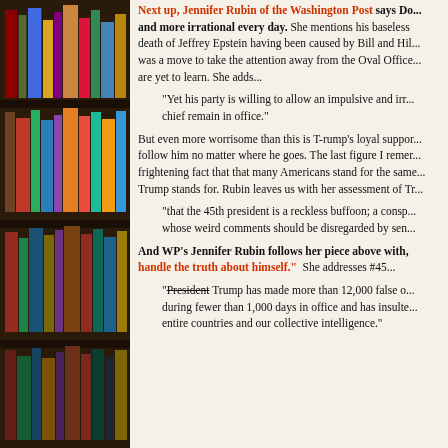[Figure (photo): Bookshelf with colorful books on the left side of the page]
Next up, Jennifer Rubin of the Washington Post says Do... and more irrational every day. She mentions his baseless death of Jeffrey Epstein having been caused by Bill and Hil... was a move to take the attention away from the Oval Office are yet to learn. She adds...
"Yet his party is willing to allow an impulsive and irr... chief remain in office."
But even more worrisome than this is T-rump's loyal suppor... follow him no matter where he goes. The last figure I remer... frightening fact that that many Americans stand for the same... Trump stands for. Rubin leaves us with her assessment of Tr...
"that the 45th president is a reckless buffoon; a consp... whose weird comments should be disregarded by sen...
And WP's Jennifer Rubin follows her piece above with, handle the truth about himself." She addresses #45...
"President Trump has made more than 12,000 false o... during fewer than 1,000 days in office and has insulte... entire countries and our collective intelligence."